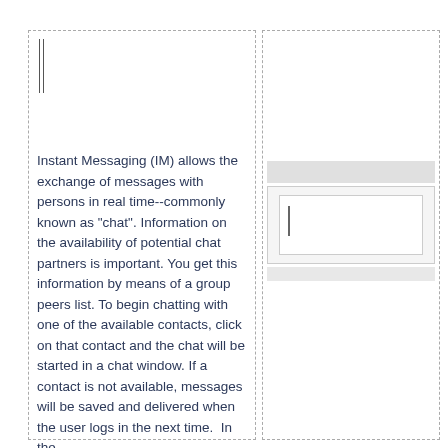Instant Messaging (IM) allows the exchange of messages with persons in real time--commonly known as "chat". Information on the availability of potential chat partners is important. You get this information by means of a group peers list. To begin chatting with one of the available contacts, click on that contact and the chat will be started in a chat window. If a contact is not available, messages will be saved and delivered when the user logs in the next time.  In the
[Figure (screenshot): UI mockup of an instant messaging chat window interface showing a toolbar bar at top, a chat area panel, and a text input field with cursor]